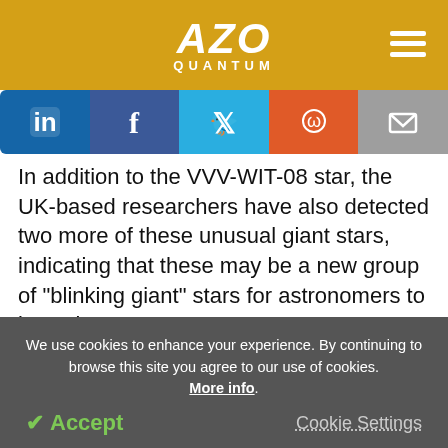AZO QUANTUM
In addition to the VVV-WIT-08 star, the UK-based researchers have also detected two more of these unusual giant stars, indicating that these may be a new group of “blinking giant” stars for astronomers to investigate.
The VVV-WIT-08 star was identified by the VISTA Variables in the Via Lactea survey (VVV) suggesting that
We use cookies to enhance your experience. By continuing to browse this site you agree to our use of cookies. More info.
Accept   Cookie Settings